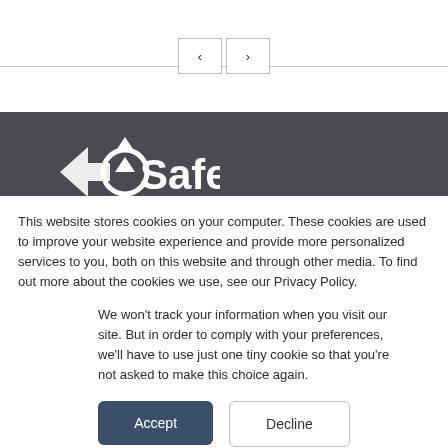[Figure (screenshot): Navigation area with previous and next arrow buttons on a horizontal rule]
[Figure (logo): C-Safe logo in white on dark gray background banner]
This website stores cookies on your computer. These cookies are used to improve your website experience and provide more personalized services to you, both on this website and through other media. To find out more about the cookies we use, see our Privacy Policy.
We won't track your information when you visit our site. But in order to comply with your preferences, we'll have to use just one tiny cookie so that you're not asked to make this choice again.
Accept
Decline